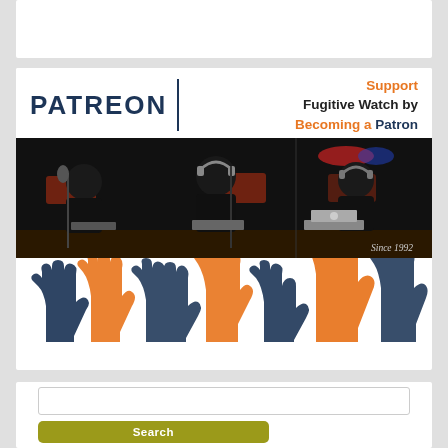[Figure (infographic): Patreon promotional banner for Fugitive Watch. Shows PATREON logo with vertical divider and text 'Support Fugitive Watch by Becoming a Patron'. Below is a podcast photo of three people at desks with microphones and laptops in a dark studio, with 'Since 1992' text. Below that is a row of alternating navy and orange raised hand silhouettes.]
Search